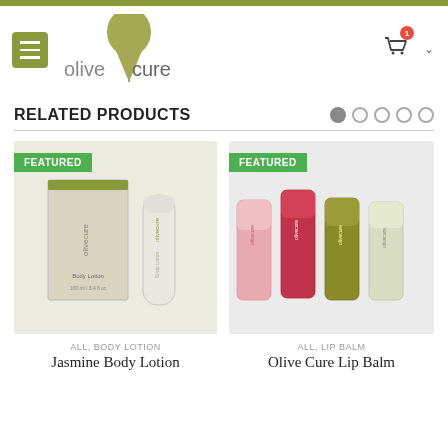[Figure (logo): Olive Cure logo with olive drip icon and menu button, cart icon with badge showing 1]
RELATED PRODUCTS
[Figure (photo): Jasmine Body Lotion product photo with FEATURED badge — box and tube of olivecure body lotion]
ALL, BODY LOTION
Jasmine Body Lotion
[Figure (photo): Olive Cure Lip Balm product photo with FEATURED badge — four lip balm sticks in pink, red, olive, and light green]
ALL, LIP BALM
Olive Cure Lip Balm